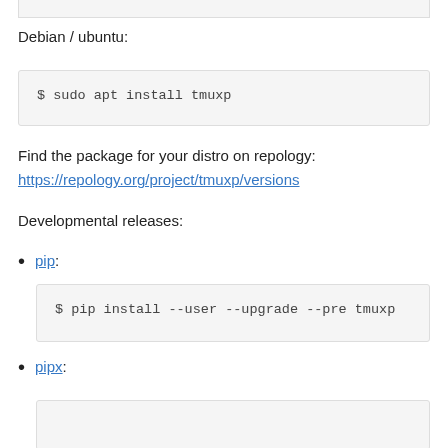Debian / ubuntu:
$ sudo apt install tmuxp
Find the package for your distro on repology:
https://repology.org/project/tmuxp/versions
Developmental releases:
pip:
$ pip install --user --upgrade --pre tmuxp
pipx: